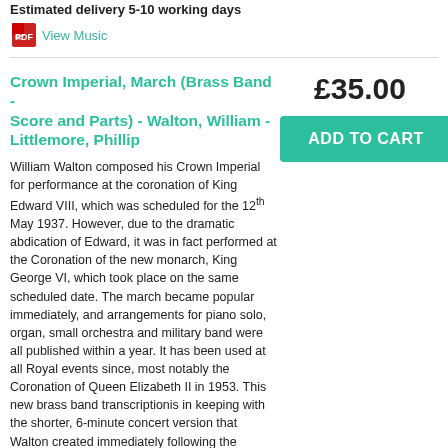Estimated delivery 5-10 working days
View Music
Crown Imperial, March (Brass Band - Score and Parts) - Walton, William - Littlemore, Phillip
£35.00
ADD TO CART
William Walton composed his Crown Imperial for performance at the coronation of King Edward VIII, which was scheduled for the 12th May 1937. However, due to the dramatic abdication of Edward, it was in fact performed at the Coronation of the new monarch, King George VI, which took place on the same scheduled date. The march became popular immediately, and arrangements for piano solo, organ, small orchestra and military band were all published within a year. It has been used at all Royal events since, most notably the Coronation of Queen Elizabeth II in 1953. This new brass band transcriptionis in keeping with the shorter, 6-minute concert version that Walton created immediately following the Coronation of George VI. However, the scoring is more in keeping with contemporary brass band voicings, and provides an exciting version for brass band.Duration: 7:00
Estimated delivery 5-10 working days
[Figure (other): Audio player with play button, 00:00 timestamp, and progress bar on dark background]